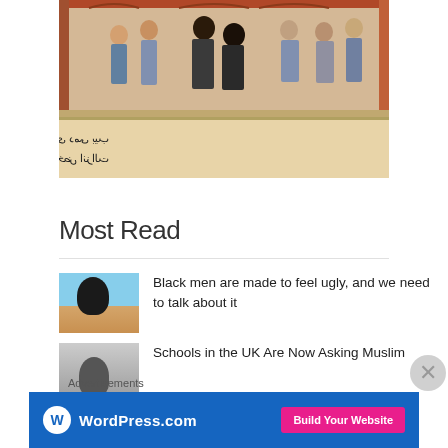[Figure (illustration): Medieval Islamic manuscript illustration showing a group of figures in an architectural setting with Arabic text below]
Most Read
[Figure (photo): Thumbnail of a Black man on a beach]
Black men are made to feel ugly, and we need to talk about it
[Figure (photo): Thumbnail of a man in grayscale]
Schools in the UK Are Now Asking Muslim
Advertisements
[Figure (screenshot): WordPress.com advertisement banner with Build Your Website button]